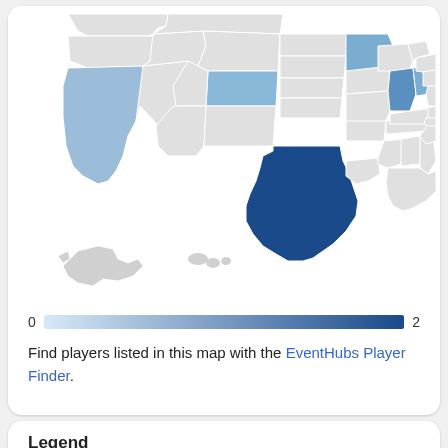[Figure (map): Choropleth map of the United States showing player distribution by state. Texas is darkest blue (highest), California, Colorado, Minnesota/Iowa area, and Illinois/Indiana area are medium blue. Most other states are light gray. Alaska and Hawaii shown in lower left.]
0  [gradient bar]  2
Find players listed in this map with the EventHubs Player Finder.
Legend
Usage points — If a character is listed as a main,